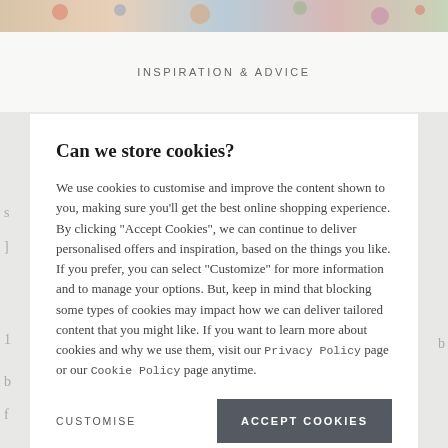[Figure (photo): Decorative banner image at top of page with colorful pattern]
INSPIRATION & ADVICE
Can we store cookies?
We use cookies to customise and improve the content shown to you, making sure you'll get the best online shopping experience. By clicking "Accept Cookies", we can continue to deliver personalised offers and inspiration, based on the things you like. If you prefer, you can select "Customize" for more information and to manage your options. But, keep in mind that blocking some types of cookies may impact how we can deliver tailored content that you might like. If you want to learn more about cookies and why we use them, visit our Privacy Policy page or our Cookie Policy page anytime.
CUSTOMISE
ACCEPT COOKIES